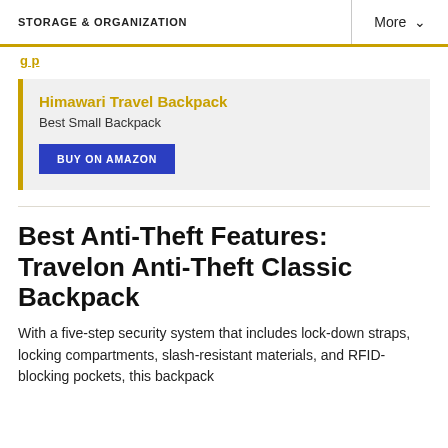STORAGE & ORGANIZATION | More
g p
Himawari Travel Backpack
Best Small Backpack
BUY ON AMAZON
Best Anti-Theft Features: Travelon Anti-Theft Classic Backpack
With a five-step security system that includes lock-down straps, locking compartments, slash-resistant materials, and RFID-blocking pockets, this backpack